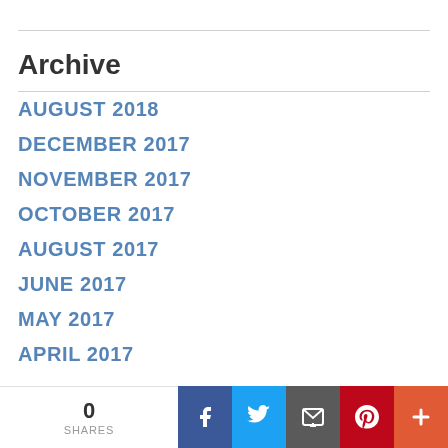Archive
AUGUST 2018
DECEMBER 2017
NOVEMBER 2017
OCTOBER 2017
AUGUST 2017
JUNE 2017
MAY 2017
APRIL 2017
[Figure (infographic): Social sharing bar with 0 SHARES counter, Facebook, Twitter, Email, Pinterest, and More (+) buttons]